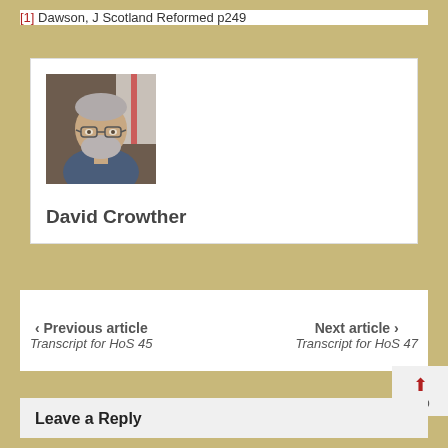[1] Dawson, J Scotland Reformed p249
[Figure (photo): Portrait photo of David Crowther, a man with grey hair and beard wearing glasses and a blue jacket]
David Crowther
< Previous article
Transcript for HoS 45
Next article >
Transcript for HoS 47
Leave a Reply